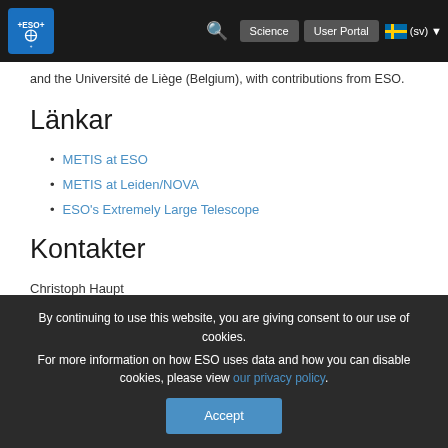ESO Science User Portal (sv)
and the Université de Liège (Belgium), with contributions from ESO.
Länkar
METIS at ESO
METIS at Leiden/NOVA
ESO's Extremely Large Telescope
Kontakter
Christoph Haupt
METIS Project Manager at ESO
Cell: +49 151 14176113
Email: Christoph.Haupt@eso.org
By continuing to use this website, you are giving consent to our use of cookies.
For more information on how ESO uses data and how you can disable cookies, please view our privacy policy.